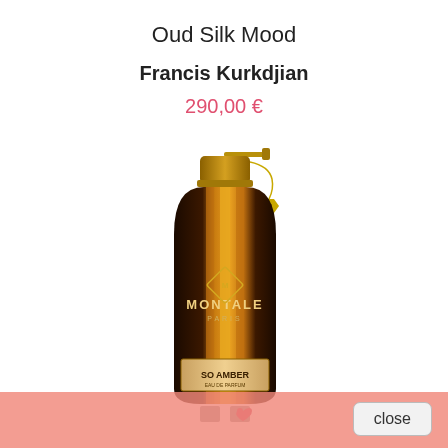Oud Silk Mood
Francis Kurkdjian
290,00 €
[Figure (photo): Montale Paris perfume bottle - 'So Amber' Eau de Parfum, dark brown/black bottle with gold vertical stripe accents, gold spray pump top, gold chain with logo tag, Montale Paris branding on label]
close